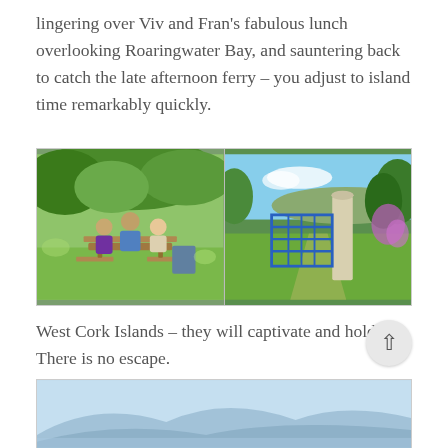lingering over Viv and Fran's fabulous lunch overlooking Roaringwater Bay, and sauntering back to catch the late afternoon ferry – you adjust to island time remarkably quickly.
[Figure (photo): Two side-by-side outdoor photographs: left shows three people sitting at a picnic table in a sunny garden with green trees; right shows a blue farm gate and stone pillar with lush green trees and blue sky in background.]
West Cork Islands – they will captivate and hold you. There is no escape.
[Figure (photo): Partial view of a scenic landscape photograph showing misty blue hills or mountains over water, cropped at the bottom of the page.]